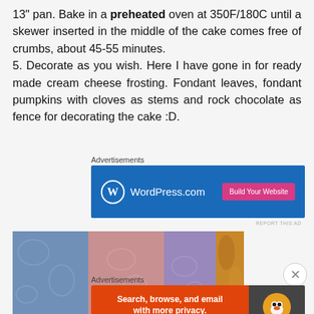13" pan. Bake in a preheated oven at 350F/180C until a skewer inserted in the middle of the cake comes free of crumbs, about 45-55 minutes.
5. Decorate as you wish. Here I have gone in for ready made cream cheese frosting. Fondant leaves, fondant pumpkins with cloves as stems and rock chocolate as fence for decorating the cake :D.
Advertisements
[Figure (screenshot): WordPress.com advertisement banner with blue background, WordPress logo on left, and 'Build Your Website' pink button on right]
[Figure (photo): Photo showing colorful fabric textiles in blue, pink, and purple patterns, with a wooden item visible on the right]
Advertisements
[Figure (screenshot): DuckDuckGo advertisement banner with orange background on left saying 'Search, browse, and email with more privacy. All in One Free App' and dark right panel with DuckDuckGo duck logo]